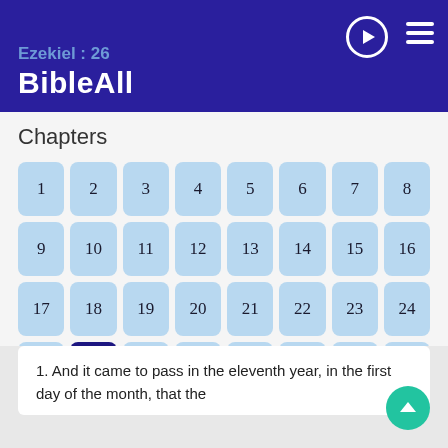Ezekiel : 26 — BibleAll
Chapters
1, 2, 3, 4, 5, 6, 7, 8, 9, 10, 11, 12, 13, 14, 15, 16, 17, 18, 19, 20, 21, 22, 23, 24, 25, 26 (active), 27, 28, 29, 30, 31, 32, 33, 34, 35, 36, 37, 38, 39, 40, 41, 42, 43, 44, 45, 46, 47, 48
1. And it came to pass in the eleventh year, in the first day of the month, that the